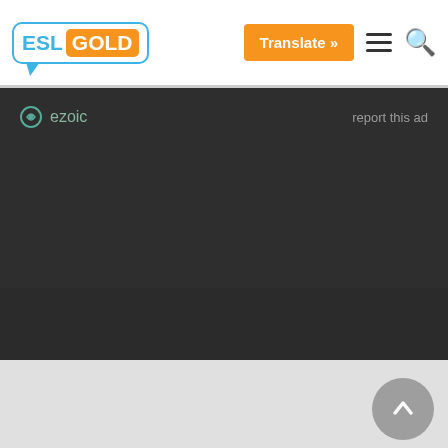ESL GOLD | Translate »
[Figure (screenshot): Ezoic ad area with ezoic logo and 'report this ad' link on dark background]
About  Privacy  Terms  Disclosures  Sitemap
© 2018, ESL Gold. All rights reserved.